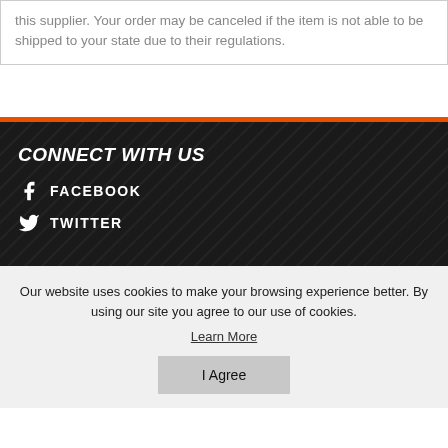this supplier. Your order may be canceled if the item is not able to be shipped to your state due to their regulations.
CONNECT WITH US
FACEBOOK
TWITTER
Our website uses cookies to make your browsing experience better. By using our site you agree to our use of cookies.
Learn More
I Agree